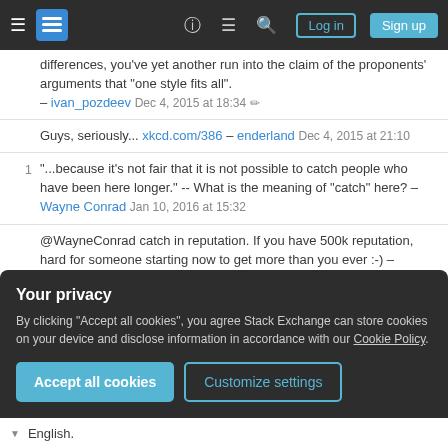Stack Exchange navigation bar with Log in and Sign up buttons
differences, you've yet another run into the claim of the proponents' arguments that "one style fits all". – ivan_pozdeev Dec 4, 2015 at 18:34
Guys, seriously... xkcd.com/386 – enderland Dec 4, 2015 at 21:10
"...because it's not fair that it is not possible to catch people who have been here longer." -- What is the meaning of "catch" here? – Wayne Conrad Jan 10, 2016 at 15:32
@WayneConrad catch in reputation. If you have 500k reputation, hard for someone starting now to get more than you ever :-) – enderland Jan 10, 2016 at 21:46
Your privacy
By clicking "Accept all cookies", you agree Stack Exchange can store cookies on your device and disclose information in accordance with our Cookie Policy.
Accept all cookies   Customize settings
English.